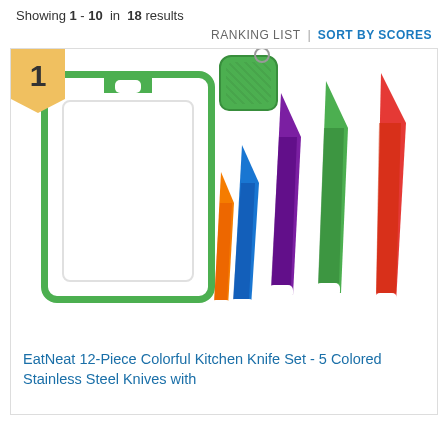Showing 1 - 10 in 18 results
RANKING LIST | SORT BY SCORES
[Figure (photo): Product image showing a colorful kitchen knife set with cutting board. Includes a green-bordered white cutting board, a small green knife sharpener with keychain, and 5 colored stainless steel knives in orange, blue, purple, green, and red with matching sheaths.]
EatNeat 12-Piece Colorful Kitchen Knife Set - 5 Colored Stainless Steel Knives with